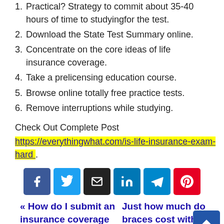1. Practical? Strategy to commit about 35-40 hours of time to studyingfor the test.
2. Download the State Test Summary online.
3. Concentrate on the core ideas of life insurance coverage.
4. Take a prelicensing education course.
5. Browse online totally free practice tests.
6. Remove interruptions while studying.
Check Out Complete Post
https://everythingwhat.com/is-life-insurance-exam-hard .
[Figure (other): Social share buttons: Facebook, Twitter, Email, LinkedIn, Telegram, Pinterest]
« How do I submit an insurance coverage claim   Just how much do braces cost without insurance